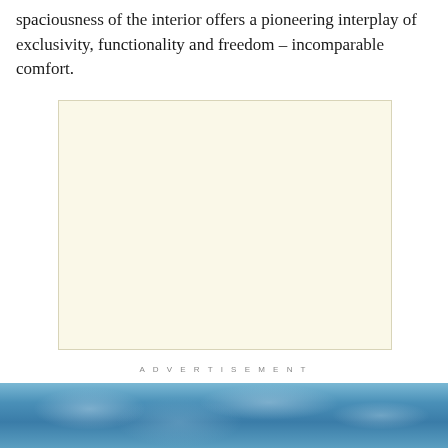spaciousness of the interior offers a pioneering interplay of exclusivity, functionality and freedom – incomparable comfort.
[Figure (other): Advertisement placeholder rectangle with cream/beige background]
ADVERTISEMENT
[Figure (photo): Aerial photograph of blue sky with clouds visible at bottom of page]